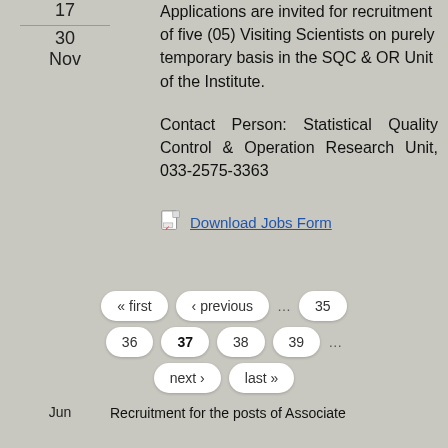17
30
Nov
Applications are invited for recruitment of five (05) Visiting Scientists on purely temporary basis in the SQC & OR Unit of the Institute.
Contact Person: Statistical Quality Control & Operation Research Unit, 033-2575-3363
Download Jobs Form
« first
‹ previous
…
35
36
37
38
39
…
next ›
last »
Jun
Recruitment for the posts of Associate